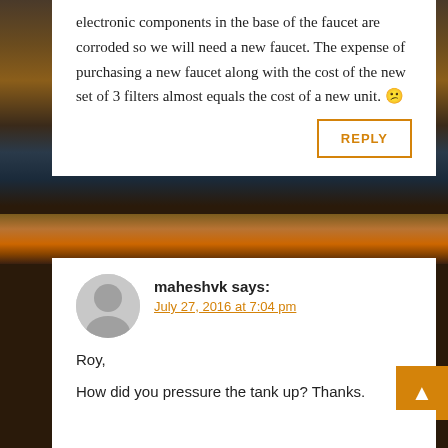electronic components in the base of the faucet are corroded so we will need a new faucet. The expense of purchasing a new faucet along with the cost of the new set of 3 filters almost equals the cost of a new unit. 😕
REPLY
maheshvk says:
July 27, 2016 at 7:04 pm
Roy,
How did you pressure the tank up? Thanks.
REPLY